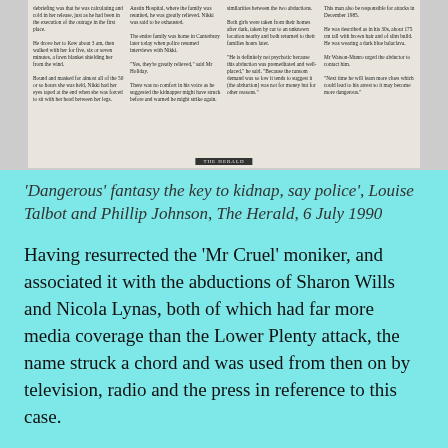[Figure (photo): Scanned newspaper clipping with multiple columns of text about kidnap/abduction case, with 'The Herald' masthead visible at the bottom of the clipping.]
'Dangerous' fantasy the key to kidnap, say police', Louise Talbot and Phillip Johnson, The Herald, 6 July 1990
Having resurrected the 'Mr Cruel' moniker, and associated it with the abductions of Sharon Wills and Nicola Lynas, both of which had far more media coverage than the Lower Plenty attack, the name struck a chord and was used from then on by television, radio and the press in reference to this case.
Factual Errors